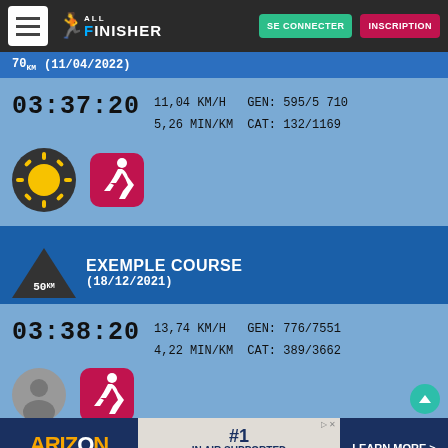ALL FINISHER navigation bar with SE CONNECTER and INSCRIPTION buttons
70km | (11/04/2022)
03:37:20 | 11,04 KM/H | 5,26 MIN/KM | GEN: 595/5710 | CAT: 132/1169
[Figure (illustration): Sun icon (dark circle with yellow sun) and running app icon (red rounded square with white runner)]
EXEMPLE COURSE (18/12/2021) 50km
03:38:20 | 13,74 KM/H | 4,22 MIN/KM | GEN: 776/7551 | CAT: 389/3662
[Figure (illustration): Cloud/profile icon and running app icon (red rounded square with white runner)]
[Figure (illustration): ARIZON Building Systems advertisement banner - #1 in air supported structures - Learn More]